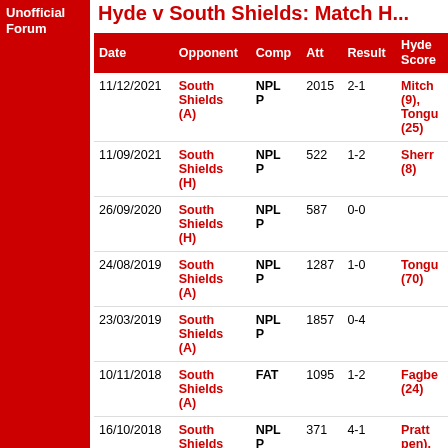Unofficial Forum
Hyde v South Shields: Match H...
| Date | Opponent | Comp | Att | Result | Hyde Score |
| --- | --- | --- | --- | --- | --- |
| 11/12/2021 | South Shields (A) | NPL P | 2015 | 2-1 | Mitch (9), Tongu (25) |
| 11/09/2021 | South Shields (H) | NPL P | 522 | 1-2 | Sherr (8) |
| 26/09/2020 | South Shields (H) | NPL P | 587 | 0-0 |  |
| 24/08/2019 | South Shields (A) | NPL P | 1287 | 1-0 | Tongu (70) |
| 23/03/2019 | South Shields (A) | NPL P | 1857 | 0-4 |  |
| 10/11/2018 | South Shields (A) | FAT | 1095 | 1-2 | Fagbe (24) |
| 16/10/2018 | South Shields (H) | NPL P | 371 | 4-1 | Pratt pen), Simps (42), McCo (70) |